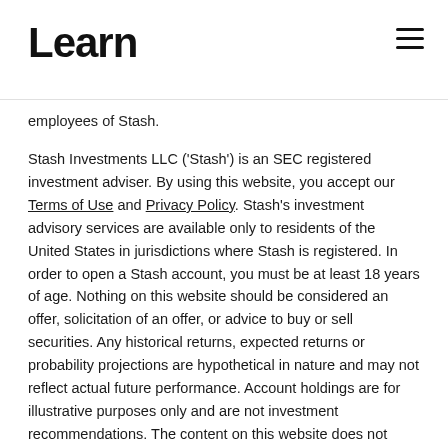Learn
employees of Stash.
Stash Investments LLC ('Stash') is an SEC registered investment adviser. By using this website, you accept our Terms of Use and Privacy Policy. Stash's investment advisory services are available only to residents of the United States in jurisdictions where Stash is registered. In order to open a Stash account, you must be at least 18 years of age. Nothing on this website should be considered an offer, solicitation of an offer, or advice to buy or sell securities. Any historical returns, expected returns or probability projections are hypothetical in nature and may not reflect actual future performance. Account holdings are for illustrative purposes only and are not investment recommendations. The content on this website does not constitute a complete description of Stash's investment advisory services. View a full list of available investments on Stash. Stash does not provide financial planning services to individual investors. Before investing, consider your investment objectives and Stash's fees and applicable custodial fees. Stash Financial, Inc. is a digital financial services company offering financial products for U.S. based consumers. Stash is not a